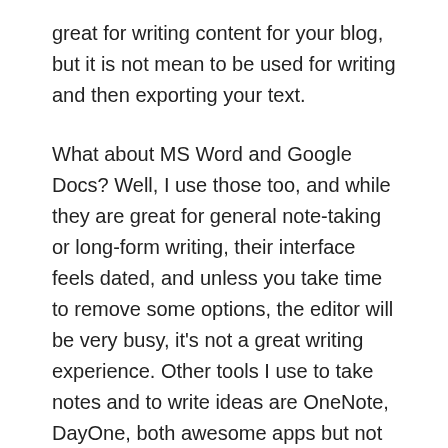great for writing content for your blog, but it is not mean to be used for writing and then exporting your text.
What about MS Word and Google Docs? Well, I use those too, and while they are great for general note-taking or long-form writing, their interface feels dated, and unless you take time to remove some options, the editor will be very busy, it's not a great writing experience. Other tools I use to take notes and to write ideas are OneNote, DayOne, both awesome apps but not for general writing.
The ideal writing app
It's not a surprise that the perfect writing app would be,